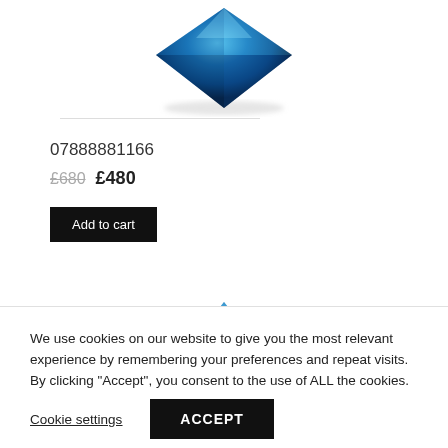[Figure (photo): Blue gemstone/crystal product image (diamond-shaped), partially cut off at top]
07888881166
£680 £480
Add to cart
[Figure (photo): Blue pyramid/mountain shaped crystal product image, partially visible at bottom]
We use cookies on our website to give you the most relevant experience by remembering your preferences and repeat visits. By clicking "Accept", you consent to the use of ALL the cookies.
Cookie settings
ACCEPT